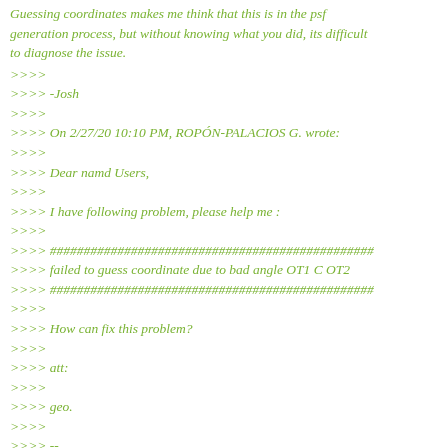Guessing coordinates makes me think that this is in the psf generation process, but without knowing what you did, its difficult to diagnose the issue.
>>>>
>>>> -Josh
>>>>
>>>> On 2/27/20 10:10 PM, ROPÓN-PALACIOS G. wrote:
>>>>
>>>> Dear namd Users,
>>>>
>>>> I have following problem, please help me :
>>>>
>>>> ################################################
>>>> failed to guess coordinate due to bad angle OT1 C OT2
>>>> ################################################
>>>>
>>>> How can fix this problem?
>>>>
>>>> att:
>>>>
>>>> geo.
>>>>
>>>> --
>>>>
>>>